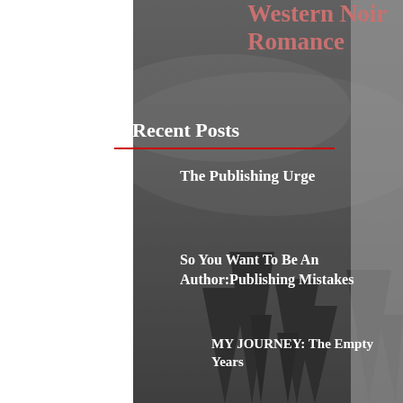Western Noir Romance
Recent Posts
The Publishing Urge
So You Want To Be An Author:Publishing Mistakes
[Figure (photo): Small thumbnail image of a phone/book icon]
MY JOURNEY: The Empty Years